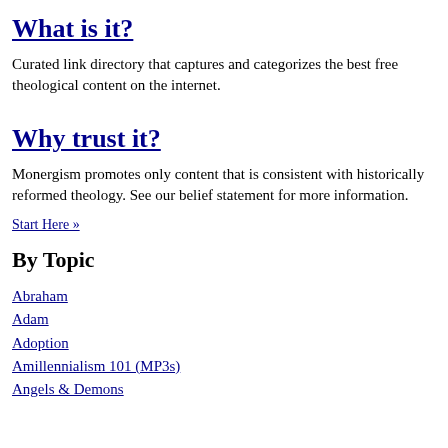What is it?
Curated link directory that captures and categorizes the best free theological content on the internet.
Why trust it?
Monergism promotes only content that is consistent with historically reformed theology. See our belief statement for more information.
Start Here »
By Topic
Abraham
Adam
Adoption
Amillennialism 101 (MP3s)
Angels & Demons